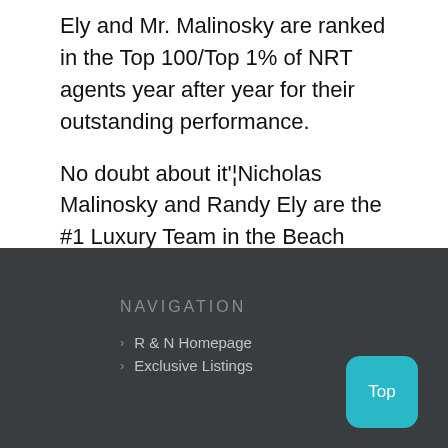Ely and Mr. Malinosky are ranked in the Top 100/Top 1% of NRT agents year after year for their outstanding performance.
No doubt about it'¦Nicholas Malinosky and Randy Ely are the #1 Luxury Team in the Beach Area.
NAVIGATION
R & N Homepage
Exclusive Listings